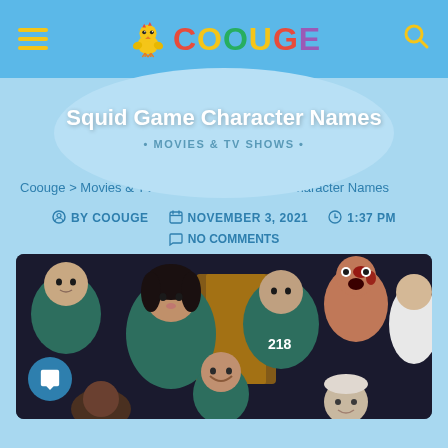Coouge — navigation header with hamburger menu, Coouge logo, and search icon
Squid Game Character Names
• MOVIES & TV SHOWS •
Coouge > Movies & TV Shows > Squid Game Character Names
BY COOUGE   NOVEMBER 3, 2021   1:37 PM   NO COMMENTS
[Figure (photo): Group photo of Squid Game cast members wearing teal tracksuits, number 218 visible on one character's jacket]